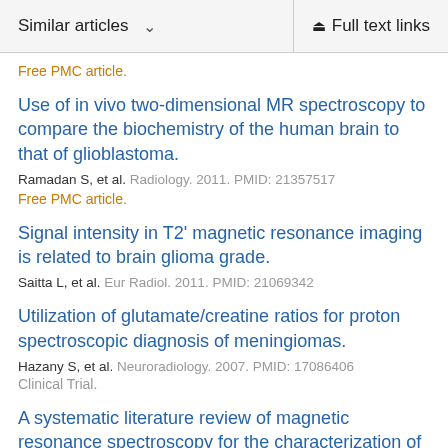Similar articles   ∨   Full text links
Free PMC article.
Use of in vivo two-dimensional MR spectroscopy to compare the biochemistry of the human brain to that of glioblastoma.
Ramadan S, et al. Radiology. 2011. PMID: 21357517
Free PMC article.
Signal intensity in T2' magnetic resonance imaging is related to brain glioma grade.
Saitta L, et al. Eur Radiol. 2011. PMID: 21069342
Utilization of glutamate/creatine ratios for proton spectroscopic diagnosis of meningiomas.
Hazany S, et al. Neuroradiology. 2007. PMID: 17086406
Clinical Trial.
A systematic literature review of magnetic resonance spectroscopy for the characterization of